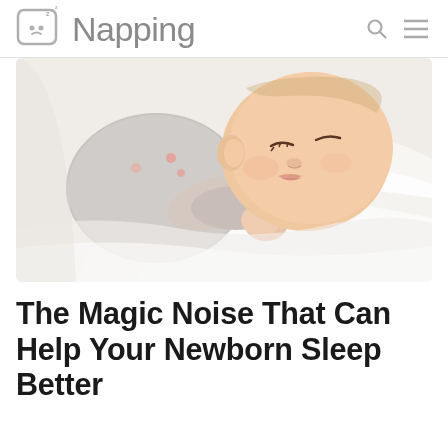Napping
[Figure (photo): Close-up photograph of a sleeping newborn baby lying on white bedding, wearing a light grey onesie with small pink details, face resting peacefully with eyes closed, small hand near face.]
The Magic Noise That Can Help Your Newborn Sleep Better